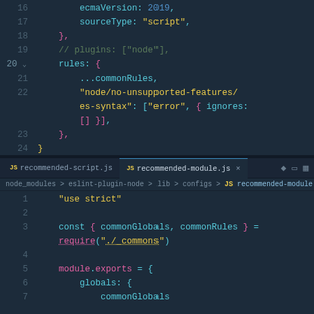[Figure (screenshot): Code editor screenshot (top panel) showing lines 16-25 of a JavaScript ESLint config file with ecmaVersion, sourceType, rules including commonRules spread and node/no-unsupported-features/es-syntax rule]
[Figure (screenshot): Code editor screenshot (bottom panel) showing recommended-module.js file with tab bar, breadcrumb path, and lines 1-7 with 'use strict', const commonGlobals/commonRules require, module.exports with globals and commonGlobals]